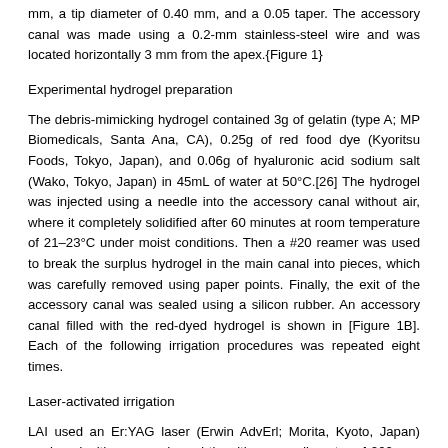mm, a tip diameter of 0.40 mm, and a 0.05 taper. The accessory canal was made using a 0.2-mm stainless-steel wire and was located horizontally 3 mm from the apex.{Figure 1}
Experimental hydrogel preparation
The debris-mimicking hydrogel contained 3g of gelatin (type A; MP Biomedicals, Santa Ana, CA), 0.25g of red food dye (Kyoritsu Foods, Tokyo, Japan), and 0.06g of hyaluronic acid sodium salt (Wako, Tokyo, Japan) in 45mL of water at 50°C.[26] The hydrogel was injected using a needle into the accessory canal without air, where it completely solidified after 60 minutes at room temperature of 21–23°C under moist conditions. Then a #20 reamer was used to break the surplus hydrogel in the main canal into pieces, which was carefully removed using paper points. Finally, the exit of the accessory canal was sealed using a silicon rubber. An accessory canal filled with the red-dyed hydrogel is shown in [Figure 1B]. Each of the following irrigation procedures was repeated eight times.
Laser-activated irrigation
LAI used an Er:YAG laser (Erwin AdvErl; Morita, Kyoto, Japan) equipped with a cone-shaped tip with a core diameter of 200 μm. The main root canal was filled with 5% NaOCl (Wako, Tokyo, Japan) without air, and the laser tip was positioned stationary at a depth of 10 mm from the apex. Laser irradiation involved a pulse energy of 30 mJ, a pulse length of 100 μs, and a repetition rate of 20 pulse/s for 20 or 40 seconds, without air or water cooling.